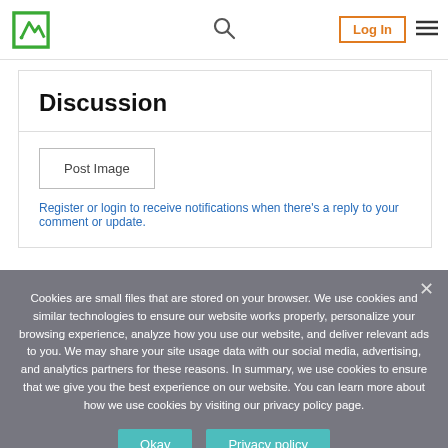Log In
Discussion
Post Image
Register or login to receive notifications when there's a reply to your comment or update.
Cookies are small files that are stored on your browser. We use cookies and similar technologies to ensure our website works properly, personalize your browsing experience, analyze how you use our website, and deliver relevant ads to you. We may share your site usage data with our social media, advertising, and analytics partners for these reasons. In summary, we use cookies to ensure that we give you the best experience on our website. You can learn more about how we use cookies by visiting our privacy policy page.
Okay
Privacy policy
Add Math